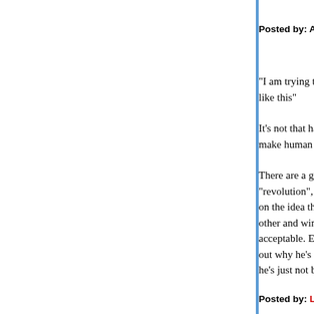Posted by: Andrew R. | June 12, 2009 at 03:43 PM
"I am trying to figure out what would possess Eric... like this"
It's not that hard. He's a loon. An angry, fulminating... make human less than human? No, of course not...
There are a group of far right wingers who grew up... "revolution", gained sea legs at the knee of Gingr... on the idea that Americans were engaged in some... other and winning all your points 100% of the time... acceptable. Eric is one of these guys, and IMO he... out why he's reacting the way he does is not hard... he's just not bright enough to question his assump...
Posted by: Lisa K. | June 12, 2009 at 03:49 PM
Hilzoy’s post:
[...] I'm not interested in 'explanations' like:... course he says idiotic things. Treating his o... undifferentiated cartoonish mass is part of...